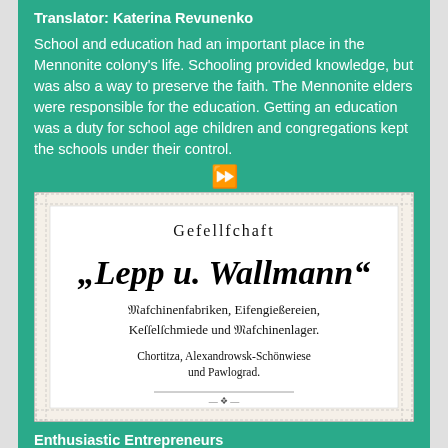Translator: Katerina Revunenko
School and education had an important place in the Mennonite colony's life. Schooling provided knowledge, but was also a way to preserve the faith. The Mennonite elders were responsible for the education. Getting an education was a duty for school age children and congregations kept the schools under their control.
[Figure (photo): Old German advertisement/letterhead image for 'Gesellschaft Lepp u. Wallmann' Maschinenfabriken, Eisengießereien, Kesselschmiede und Maschinenlager. Chortitza, Alexandrowsk-Schönwiese und Pawlograd.]
Enthusiastic Entrepreneurs
Author: Nataly Venger
The Mennonites in Russia were not only successful farmers,